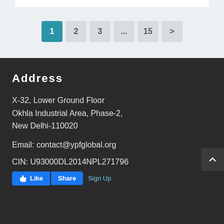[Figure (other): Pagination controls showing pages 1 (active/teal), 2, 3, ..., 15, and next arrow button on a light grey background]
Address
X-32, Lower Ground Floor
Okhla Industrial Area, Phase-2,
New Delhi-110020
Email: contact@ypfglobal.org
CIN: U93000DL2014NPL271796